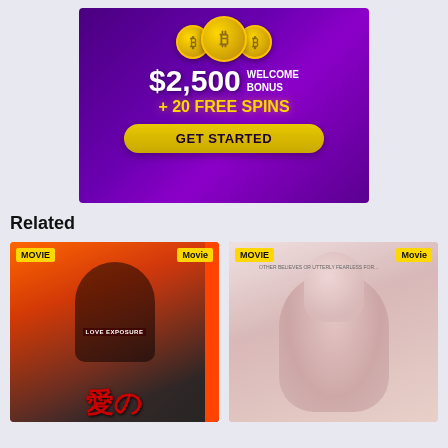[Figure (illustration): Casino advertisement banner with purple gradient background, three golden Bitcoin coins at top, large text '$2,500 WELCOME BONUS + 20 FREE SPINS', and a yellow 'GET STARTED' button.]
Related
[Figure (photo): Movie poster for a Japanese film (Love Exposure) showing two young people, orange/red/black design with Japanese characters and red graffiti-style text. Tags: MOVIE and Movie.]
[Figure (photo): Movie poster showing a side profile of a blonde woman with a pink/lavender color palette. Text at top reads 'OTHER BELIEVES OR UTTERLY FEARLESS FOR...' Tags: MOVIE and Movie.]